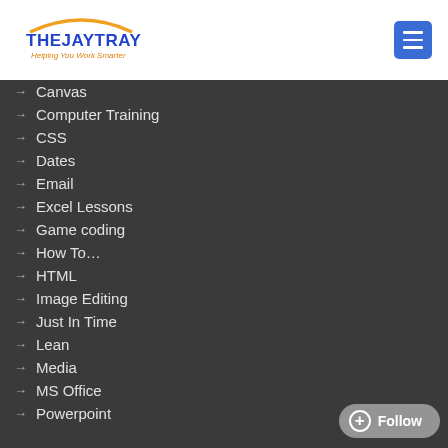[Figure (logo): TheJayTray logo with text 'THEJAYTRAY' in blue and orange arc, subtitle 'Helping You Work Smarter' in orange]
Canvas
Computer Training
CSS
Dates
Email
Excel Lessons
Game coding
How To…
HTML
Image Editing
Just In Time
Lean
Media
MS Office
Powerpoint